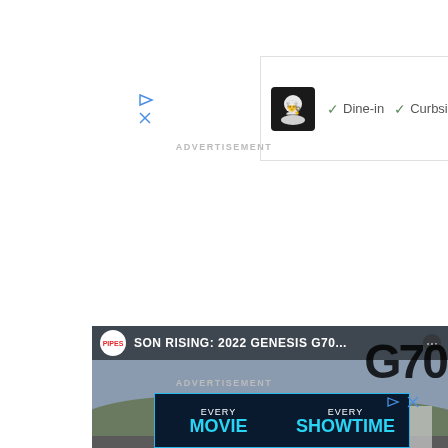[Figure (screenshot): Advertisement banner with restaurant logo (chef icon on black background), checkmarks for 'Dine-in' and 'Curbside pickup', and a blue navigation arrow icon. Below the banner are small play and close UI controls.]
ADVERTISEMENT
[Figure (screenshot): YouTube video thumbnail showing a blue Genesis G70 sports sedan on a road. Video title bar reads 'PIPES | SON RISING: 2022 Genesis G70...' with large G70 number overlay. Red YouTube play button centered on image.]
ADVERTISEMENT
[Figure (screenshot): Advertisement for a movie showtime service with text 'EVERY MOVIE EVERY SHOWTIME EVERY...' in cyan/blue on dark background with cyan border. Play and close icons at top right.]